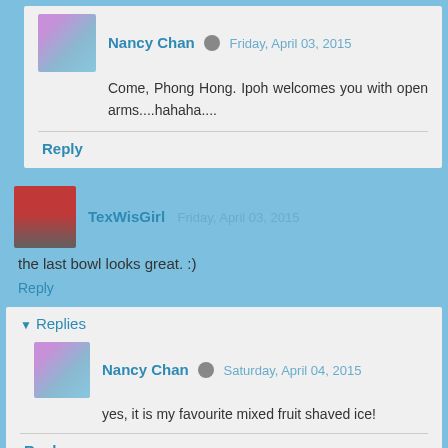Nancy Chan Friday, April 03, 2015
Come, Phong Hong. Ipoh welcomes you with open arms....hahaha....
Reply
TexWisGirl Friday, April 03, 2015
the last bowl looks great. :)
Reply
▼ Replies
Nancy Chan Saturday, April 04, 2015
yes, it is my favourite mixed fruit shaved ice!
Reply